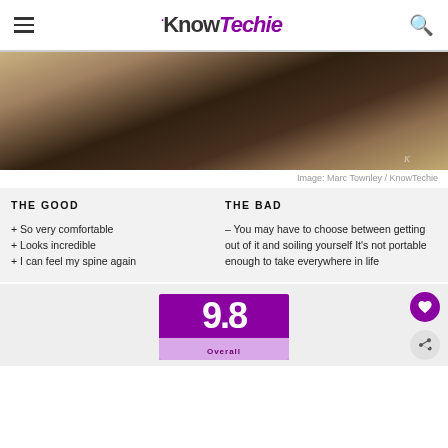KnowTechie
[Figure (photo): Partial view of an office chair under a white desk, dark chair with armrests visible against a warm beige background]
Image: Marc Townley / KnowTechie
| THE GOOD | THE BAD |
| --- | --- |
| + So very comfortable
+ Looks incredible
+ I can feel my spine again | - You may have to choose between getting out of it and soiling yourself It's not portable enough to take everywhere in life |
[Figure (other): Score card showing 9.8 overall rating in purple card with Overall label at bottom]